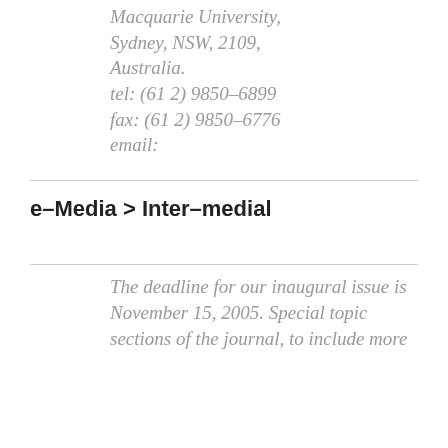Macquarie University, Sydney, NSW, 2109, Australia. tel: (61 2) 9850-6899 fax: (61 2) 9850-6776 email:
e-Media > Inter-medial
The deadline for our inaugural issue is November 15, 2005. Special topic sections of the journal, to include more